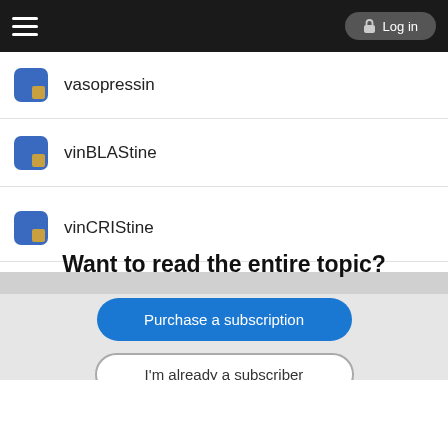Log in
vasopressin
vinBLAStine
vinCRIStine
Want to read the entire topic?
Purchase a subscription
I'm already a subscriber
Browse sample topics